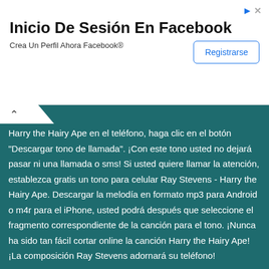[Figure (screenshot): Advertisement banner for Facebook login with title 'Inicio De Sesión En Facebook', subtitle 'Crea Un Perfil Ahora Facebook®', and a 'Registrarse' button]
Harry the Hairy Ape en el teléfono, haga clic en el botón "Descargar tono de llamada". ¡Con este tono usted no dejará pasar ni una llamada o sms! Si usted quiere llamar la atención, establezca gratis un tono para celular Ray Stevens - Harry the Hairy Ape. Descargar la melodía en formato mp3 para Android o m4r para el iPhone, usted podrá después que seleccione el fragmento correspondiente de la canción para el tono. ¡Nunca ha sido tan fácil cortar online la canción Harry the Hairy Ape!¡La composición Ray Stevens adornará su teléfono!